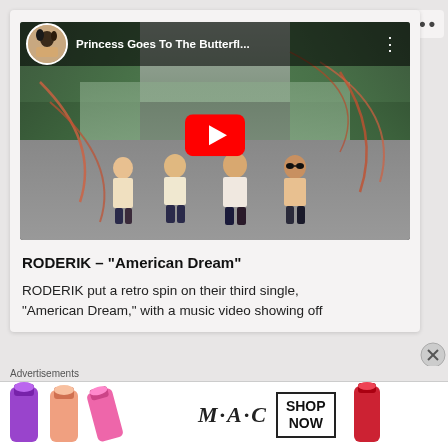[Figure (screenshot): YouTube video embed showing 'Princess Goes To The Butterfl...' with a play button overlay. Four band members sit on a road in a park-like setting with trees. Decorative ribbon/streamer effects overlay the image.]
RODERIK – "American Dream"
RODERIK put a retro spin on their third single, "American Dream," with a music video showing off
Advertisements
[Figure (screenshot): MAC Cosmetics advertisement banner showing lipsticks in purple, peach, and pink on left, MAC logo in italic script, and a 'SHOP NOW' box on right with a red lipstick.]